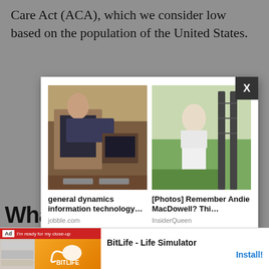Care Act (ACA), which we consider low based on the population of the United States.
[Figure (screenshot): An advertisement popup/modal overlay showing two thumbnail images side by side. Left image shows people working at computers in an office. Right image shows a person in white robes near a fence. Below the images are captions: 'general dynamics information technology...' from jobble.com, and '[Photos] Remember Andie MacDowell? Thi...' from InsiderQueen. Below that are social sharing icons.]
[Figure (screenshot): A black overlay box with white text reading: 'The media could not be loaded, either because the server or network failed or because the format is not supported.' with a red X overlaid in the center.]
What is Obam
[Figure (screenshot): Bottom advertisement banner for BitLife - Life Simulator showing app icon and Install button.]